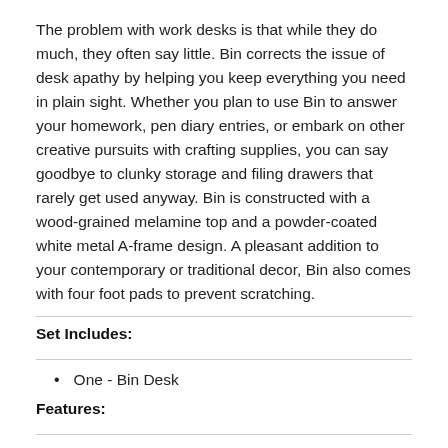The problem with work desks is that while they do much, they often say little. Bin corrects the issue of desk apathy by helping you keep everything you need in plain sight. Whether you plan to use Bin to answer your homework, pen diary entries, or embark on other creative pursuits with crafting supplies, you can say goodbye to clunky storage and filing drawers that rarely get used anyway. Bin is constructed with a wood-grained melamine top and a powder-coated white metal A-frame design. A pleasant addition to your contemporary or traditional decor, Bin also comes with four foot pads to prevent scratching.
Set Includes:
One - Bin Desk
Features:
Contemporary student desk/table